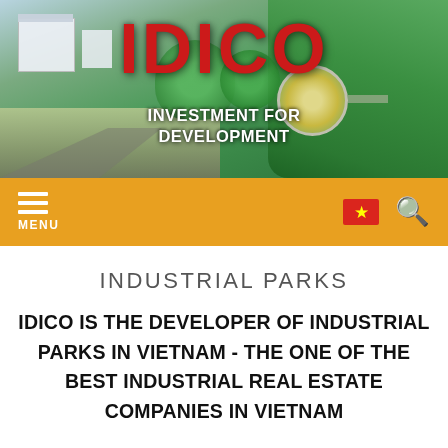[Figure (photo): Aerial view of IDICO industrial park with green trees, roundabout, buildings, and roads. Large red IDICO logo text and white INVESTMENT FOR DEVELOPMENT subtitle overlaid on the image.]
IDICO
INVESTMENT FOR DEVELOPMENT
[Figure (infographic): Orange navigation bar with hamburger menu icon and MENU text on left, Vietnamese flag and search icon on right]
INDUSTRIAL PARKS
IDICO IS THE DEVELOPER OF INDUSTRIAL PARKS IN VIETNAM - THE ONE OF THE BEST INDUSTRIAL REAL ESTATE COMPANIES IN VIETNAM